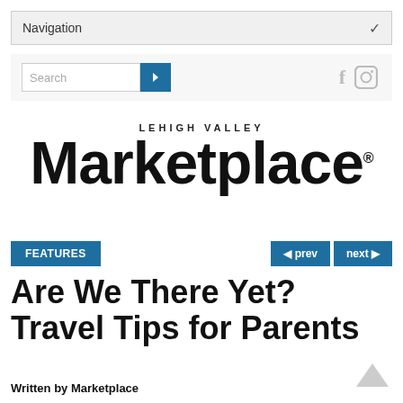Navigation
[Figure (screenshot): Search input box with blue arrow button and social icons (f, camera) on the right]
[Figure (logo): Lehigh Valley Marketplace logo with large bold text]
Features  ◄ prev  next ►
Are We There Yet? Travel Tips for Parents
Written by Marketplace